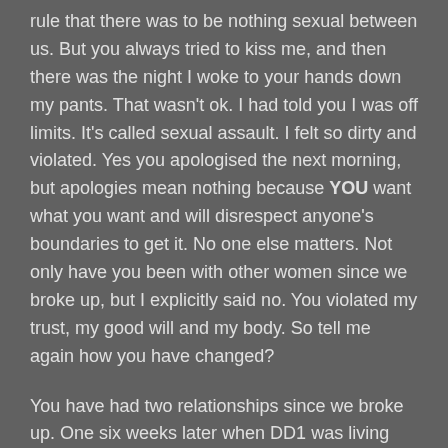rule that there was to be nothing sexual between us. But you always tried to kiss me, and then there was the night I woke to your hands down my pants. That wasn't ok. I had told you I was off limits. It's called sexual assault. I felt so dirty and violated. Yes you apologised the next morning, but apologies mean nothing because YOU want what you want and will disrespect anyone's boundaries to get it. No one else matters. Not only have you been with other women since we broke up, but I explicitly said no. You violated my trust, my good will and my body. So tell me again how you have changed?
You have had two relationships since we broke up. One six weeks later when DD1 was living with you. You brought your new woman into your house and were kissing her in front of DD1 and was sleeping with her.